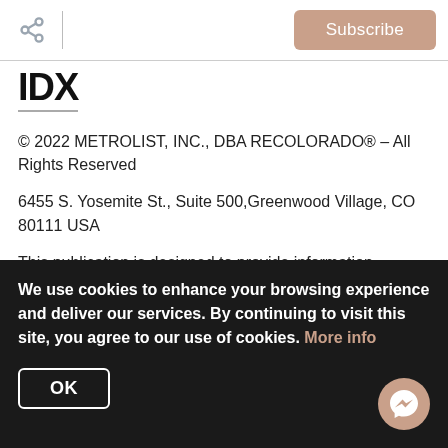Subscribe
[Figure (logo): IDX logo — bold block letters 'IDX' with a vertical line through the D]
© 2022 METROLIST, INC., DBA RECOLORADO® – All Rights Reserved
6455 S. Yosemite St., Suite 500,Greenwood Village, CO 80111 USA
This publication is designed to provide information regarding the subject matter covered. It is displayed with the understanding that the publisher and authors are not engaged in rendering real estate, legal, accounting, tax, or other professional services and that the publisher and authors are not offering such advice in this publication. If real estate, legal
We use cookies to enhance your browsing experience and deliver our services. By continuing to visit this site, you agree to our use of cookies. More info
OK